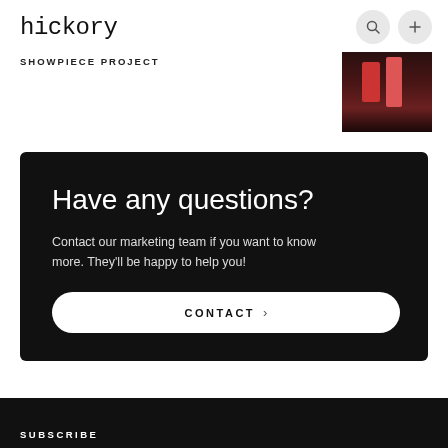hickory
SHOWPIECE PROJECT
[Figure (photo): Small thumbnail image showing people in a dark venue with red/colorful lighting]
Have any questions?
Contact our marketing team if you want to know more. They'll be happy to help you!
CONTACT
SUBSCRIBE